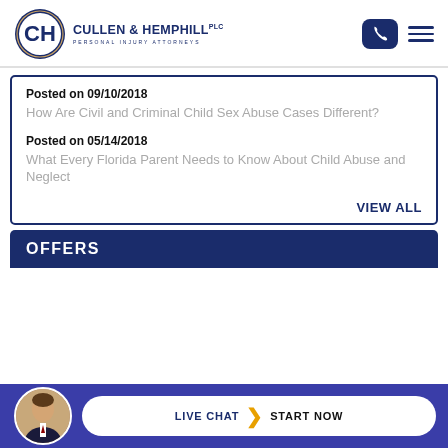[Figure (logo): Cullen & Hemphill PLC personal injury attorneys logo with circular CH monogram icon in blue and gold]
Posted on 09/10/2018
How Are Civil and Criminal Child Sex Abuse Cases Different?
Posted on 05/14/2018
What Every Florida Parent Needs to Know About Child Abuse and Neglect
VIEW ALL
OFFERS
[Figure (photo): Headshot of a male attorney in a suit, circular crop]
LIVE CHAT  START NOW